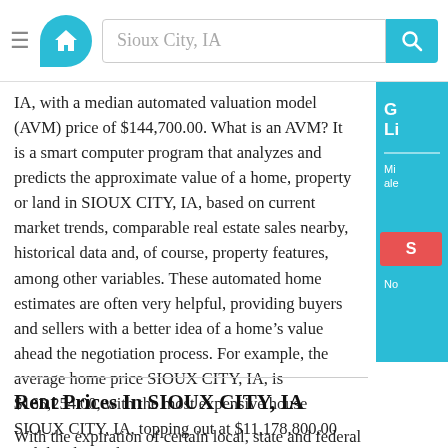Sioux City, IA
IA, with a median automated valuation model (AVM) price of $144,700.00. What is an AVM? It is a smart computer program that analyzes and predicts the approximate value of a home, property or land in SIOUX CITY, IA, based on current market trends, comparable real estate sales nearby, historical data and, of course, property features, among other variables. These automated home estimates are often very helpful, providing buyers and sellers with a better idea of a home’s value ahead the negotiation process. For example, the average home price SIOUX CITY, IA, is $165,254.00, with the most expensive house SIOUX CITY, IA, topping out at $11,178,800.00 and the cheapest home in SIOUX CITY, IA, clocking in at $11,300.00. In other words, there’s something for every potential homebuyer or savvy investor in SIOUX CITY, IA!
Rent Prices In SIOUX CITY, IA
With the expiration of certain local, state and federal housing-related restrictions and mandated programs, the rental market